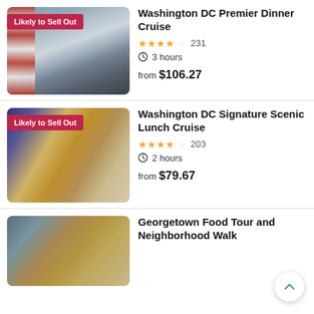[Figure (photo): American flag on a boat with Washington Monument in background on water]
Washington DC Premier Dinner Cruise
★★★★☆ 231
🕐 3 hours
from $106.27
[Figure (photo): Three women dining outdoors at a table with food and drinks]
Washington DC Signature Scenic Lunch Cruise
★★★★☆ 203
🕐 2 hours
from $79.67
[Figure (photo): Bread rolls in a basket on a blue checkered tablecloth]
Georgetown Food Tour and Neighborhood Walk